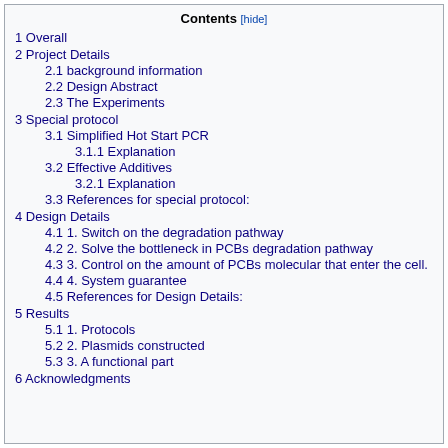Contents [hide]
1 Overall
2 Project Details
2.1 background information
2.2 Design Abstract
2.3 The Experiments
3 Special protocol
3.1 Simplified Hot Start PCR
3.1.1 Explanation
3.2 Effective Additives
3.2.1 Explanation
3.3 References for special protocol:
4 Design Details
4.1 1. Switch on the degradation pathway
4.2 2. Solve the bottleneck in PCBs degradation pathway
4.3 3. Control on the amount of PCBs molecular that enter the cell.
4.4 4. System guarantee
4.5 References for Design Details:
5 Results
5.1 1. Protocols
5.2 2. Plasmids constructed
5.3 3. A functional part
6 Acknowledgments